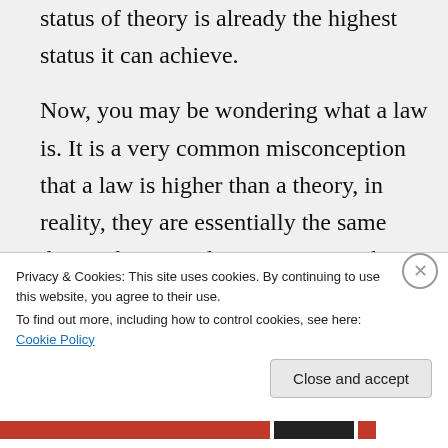status of theory is already the highest status it can achieve.

Now, you may be wondering what a law is. It is a very common misconception that a law is higher than a theory, in reality, they are essentially the same thing. The exact distinction varies by field and, honestly, by the scientist you are talking to. Some argue that a law is the mathematical aspect while the
Privacy & Cookies: This site uses cookies. By continuing to use this website, you agree to their use.
To find out more, including how to control cookies, see here: Cookie Policy
Close and accept